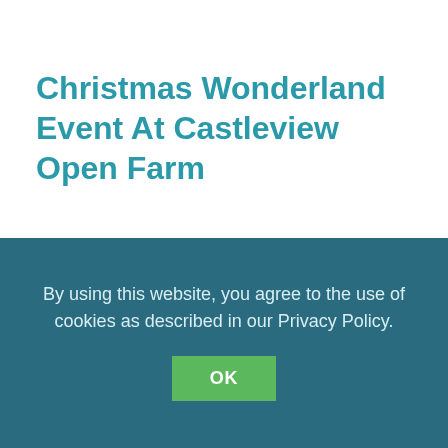Christmas Wonderland Event At Castleview Open Farm
Ongoing dates from Saturday 11th to Wednesday 22nd December 10am to 4pm
The Martz Clatz and Wandarland at Caztlaviaw
By using this website, you agree to the use of cookies as described in our Privacy Policy.
OK